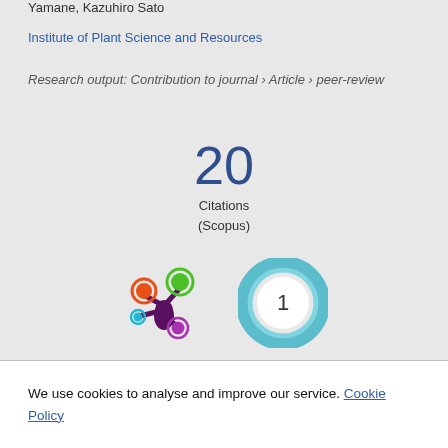Yamane, Kazuhiro Sato
Institute of Plant Science and Resources
Research output: Contribution to journal › Article › peer-review
20
Citations
(Scopus)
[Figure (logo): Altmetric donut badge logo with colorful circles (orange, green, cyan, purple) on a dark purple starburst shape]
[Figure (donut-chart): Circular badge with teal/blue ring showing the number 1 in the center]
We use cookies to analyse and improve our service. Cookie Policy